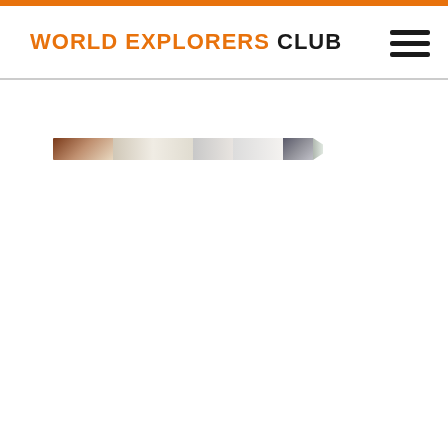WORLD EXPLORERS CLUB
[Figure (photo): Thin horizontal panoramic photo strip showing travel/exploration scenes, partially visible, located below the header navigation bar]